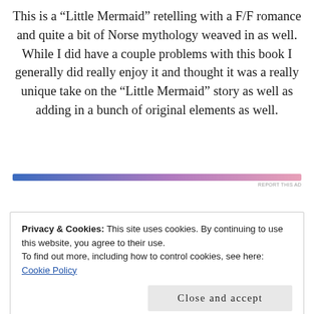This is a “Little Mermaid” retelling with a F/F romance and quite a bit of Norse mythology weaved in as well. While I did have a couple problems with this book I generally did really enjoy it and thought it was a really unique take on the “Little Mermaid” story as well as adding in a bunch of original elements as well.
[Figure (other): Gradient ad banner bar transitioning from blue on the left to pink on the right, with 'REPORT THIS AD' text label at bottom right.]
Privacy & Cookies: This site uses cookies. By continuing to use this website, you agree to their use.
To find out more, including how to control cookies, see here:
Cookie Policy
Close and accept